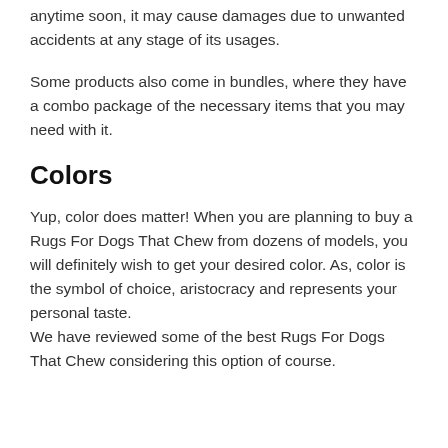anytime soon, it may cause damages due to unwanted accidents at any stage of its usages.
Some products also come in bundles, where they have a combo package of the necessary items that you may need with it.
Colors
Yup, color does matter! When you are planning to buy a Rugs For Dogs That Chew from dozens of models, you will definitely wish to get your desired color. As, color is the symbol of choice, aristocracy and represents your personal taste.
We have reviewed some of the best Rugs For Dogs That Chew considering this option of course.